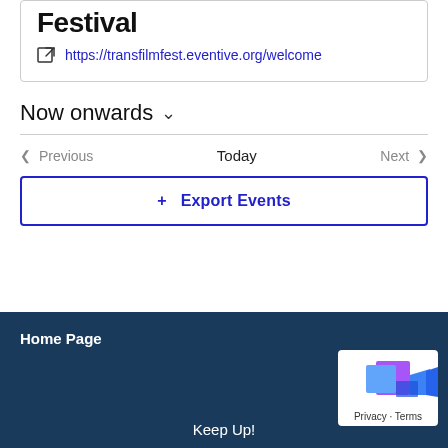Festival
https://transfilmfest.eventive.org/welcome
Now onwards
Previous  Today  Next
+ Export Events
Home Page
Keep Up!